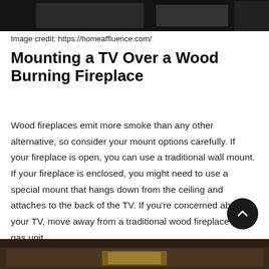[Figure (photo): Top portion of a photo showing a dark room interior, likely a living room or fireplace area]
Image credit: https://homeaffluence.com/
Mounting a TV Over a Wood Burning Fireplace
Wood fireplaces emit more smoke than any other alternative, so consider your mount options carefully. If your fireplace is open, you can use a traditional wall mount. If your fireplace is enclosed, you might need to use a special mount that hangs down from the ceiling and attaches to the back of the TV. If you’re concerned about your TV, move away from a traditional wood fireplace to a gas unit.
[Figure (photo): Bottom portion of a photo showing a TV mounted above a fireplace]